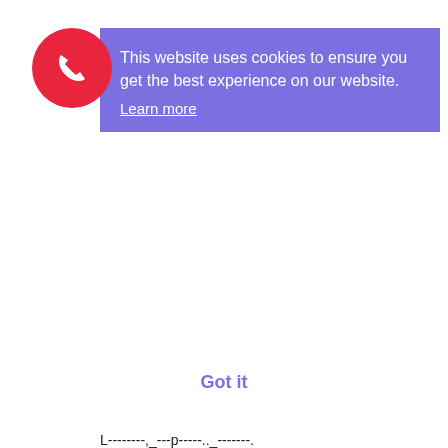[Figure (other): Red circular phone/call button icon in top-left corner]
This website uses cookies to ensure you get the best experience on our website. Learn more
Got it
L--------,_---p-----.._-------.
[Figure (photo): Bride in white wedding gown holding a bouquet of flowers, standing near a window in a room with warm light]
Wedding flowers for brides 2018!